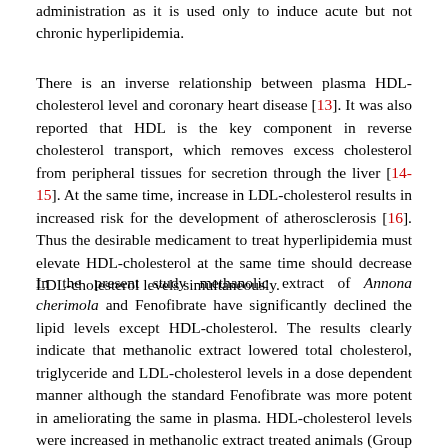administration as it is used only to induce acute but not chronic hyperlipidemia.
There is an inverse relationship between plasma HDL-cholesterol level and coronary heart disease [13]. It was also reported that HDL is the key component in reverse cholesterol transport, which removes excess cholesterol from peripheral tissues for secretion through the liver [14-15]. At the same time, increase in LDL-cholesterol results in increased risk for the development of atherosclerosis [16]. Thus the desirable medicament to treat hyperlipidemia must elevate HDL-cholesterol at the same time should decrease LDL-cholesterol levels simultaneously.
In the present study methanolic extract of Annona cherimola and Fenofibrate have significantly declined the lipid levels except HDL-cholesterol. The results clearly indicate that methanolic extract lowered total cholesterol, triglyceride and LDL-cholesterol levels in a dose dependent manner although the standard Fenofibrate was more potent in ameliorating the same in plasma. HDL-cholesterol levels were increased in methanolic extract treated animals (Group III & IV) compared to Triton treated animals (Group II) which indicates that methanolic extract was